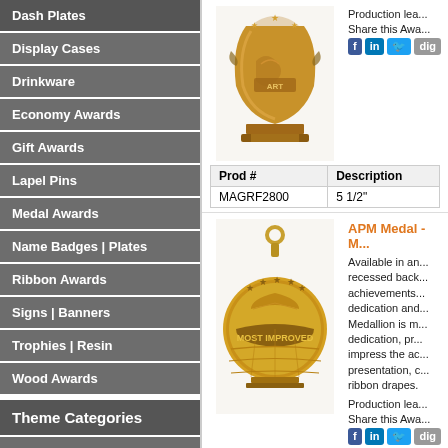Dash Plates
Display Cases
Drinkware
Economy Awards
Gift Awards
Lapel Pins
Medal Awards
Name Badges | Plates
Ribbon Awards
Signs | Banners
Trophies | Resin
Wood Awards
Theme Categories
Achievement Awards
Boss Gift Awards
Employee Awards
[Figure (photo): Bronze art award trophy figurine]
Production lea...
Share this Awa...
| Prod # | Description |
| --- | --- |
| MAGRF2800 | 5 1/2" |
[Figure (photo): Gold medal with MOST IMPROVED engraving]
APM Medal -Me...
Available in an... recessed back... achievements... dedication and... Medallion is m... dedication, pr... impress the ac... presentation, c... ribbon drapes.
Production lea...
Share this Awa...
| Prod # | Description |
| --- | --- |
| SIMAPM749G | 2" - Gold |